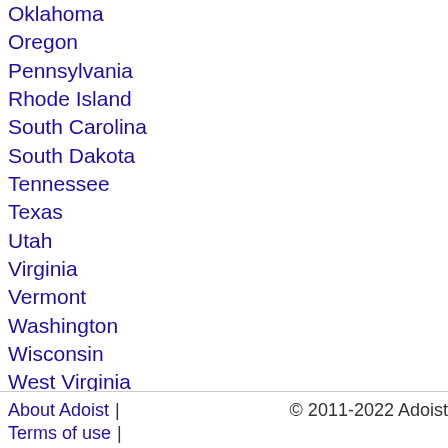Oklahoma
Oregon
Pennsylvania
Rhode Island
South Carolina
South Dakota
Tennessee
Texas
Utah
Virginia
Vermont
Washington
Wisconsin
West Virginia
Wyoming
more regions...
About Adoist | Terms of use |    © 2011-2022 Adoist